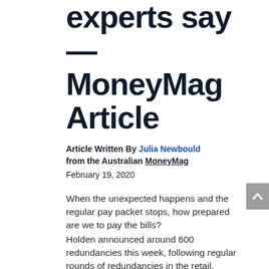experts say — MoneyMag Article
Article Written By Julia Newbould from the Australian MoneyMag
February 19, 2020
When the unexpected happens and the regular pay packet stops, how prepared are we to pay the bills?
Holden announced around 600 redundancies this week, following regular rounds of redundancies in the retail, financial and media sectors as